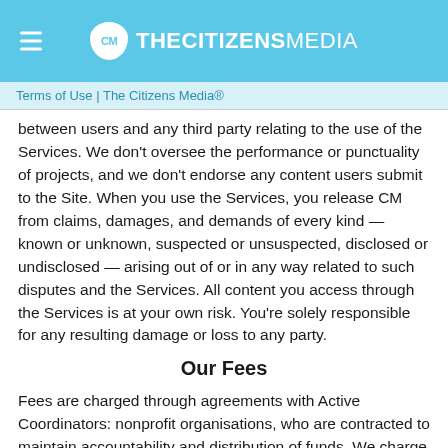THE CITIZENS MEDIA
Terms of Use | The Citizens Media®
between users and any third party relating to the use of the Services. We don't oversee the performance or punctuality of projects, and we don't endorse any content users submit to the Site. When you use the Services, you release CM from claims, damages, and demands of every kind — known or unknown, suspected or unsuspected, disclosed or undisclosed — arising out of or in any way related to such disputes and the Services. All content you access through the Services is at your own risk. You're solely responsible for any resulting damage or loss to any party.
Our Fees
Fees are charged through agreements with Active Coordinators: nonprofit organisations, who are contracted to maintain accountability and distribution of funds. We charge 5% on funds collected by Active Coordinators through CM.
Active Coordinators collect a 5% service charge, plus any fees from